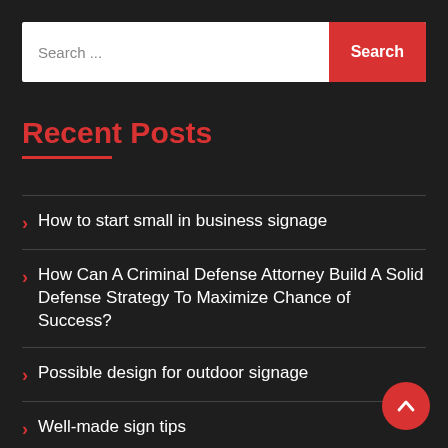Search ...
Recent Posts
How to start small in business signage
How Can A Criminal Defense Attorney Build A Solid Defense Strategy To Maximize Chance of Success?
Possible design for outdoor signage
Well-made sign tips
Get the Best Value Out of Your Roofing Investment